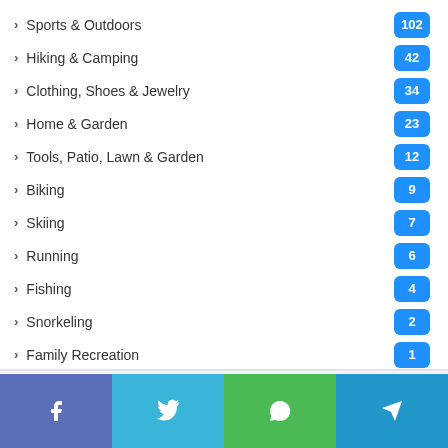Sports & Outdoors 102
Hiking & Camping 42
Clothing, Shoes & Jewelry 34
Home & Garden 23
Tools, Patio, Lawn & Garden 12
Biking 9
Skiing 7
Running 6
Fishing 4
Snorkeling 2
Family Recreation 1
[Figure (infographic): Social share buttons: Facebook, Twitter, WhatsApp, Telegram]